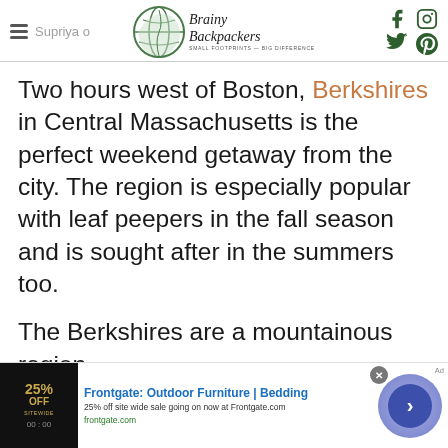Brainy Backpackers — Small Footprints — Big Difference
Two hours west of Boston, Berkshires in Central Massachusetts is the perfect weekend getaway from the city. The region is especially popular with leaf peepers in the fall season and is sought after in the summers too.
The Berkshires are a mountainous region,
[Figure (other): Frontgate advertisement banner: 25% off sitewide sale. Frontgate: Outdoor Furniture | Bedding. 25% off site wide sale going on now at Frontgate.com. frontgate.com]